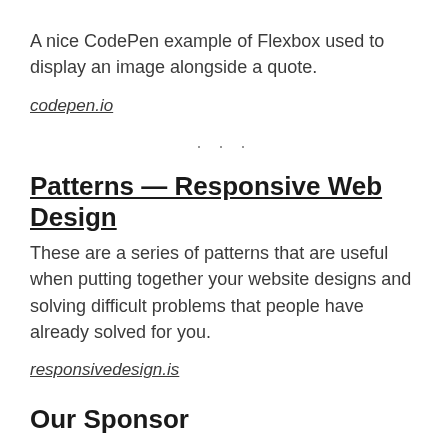A nice CodePen example of Flexbox used to display an image alongside a quote.
codepen.io
· · ·
Patterns — Responsive Web Design
These are a series of patterns that are useful when putting together your website designs and solving difficult problems that people have already solved for you.
responsivedesign.is
Our Sponsor